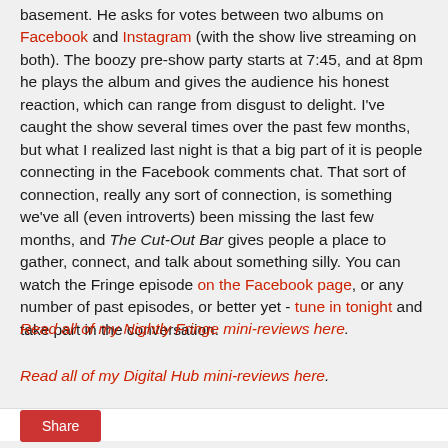basement. He asks for votes between two albums on Facebook and Instagram (with the show live streaming on both). The boozy pre-show party starts at 7:45, and at 8pm he plays the album and gives the audience his honest reaction, which can range from disgust to delight. I've caught the show several times over the past few months, but what I realized last night is that a big part of it is people connecting in the Facebook comments chat. That sort of connection, really any sort of connection, is something we've all (even introverts) been missing the last few months, and The Cut-Out Bar gives people a place to gather, connect, and talk about something silly. You can watch the Fringe episode on the Facebook page, or any number of past episodes, or better yet - tune in tonight and take part in the conversation.
Read all of my Nightly Fringe mini-reviews here.
Read all of my Digital Hub mini-reviews here.